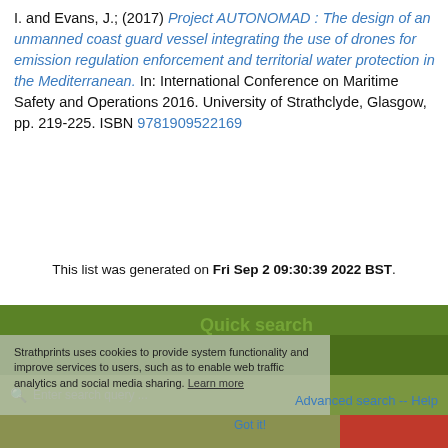I. and Evans, J.; (2017) Project AUTONOMAD : The design of an unmanned coast guard vessel integrating the use of drones for emission regulation enforcement and territorial water protection in the Mediterranean. In: International Conference on Maritime Safety and Operations 2016. University of Strathclyde, Glasgow, pp. 219-225. ISBN 9781909522169
This list was generated on Fri Sep 2 09:30:39 2022 BST.
[Figure (screenshot): Website footer area with green header bar, Quick search overlay panel, cookie consent notice, search input field, Advanced search and Help links, and red/olive bottom bars.]